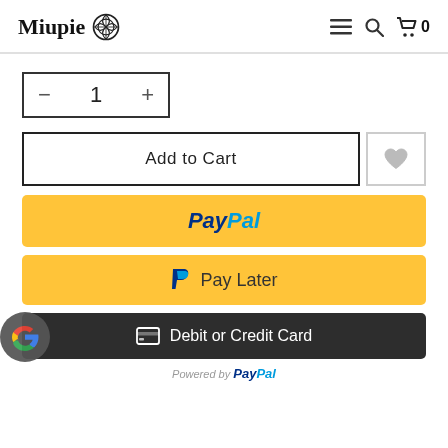Miupie [logo] — navigation icons: hamburger menu, search, cart (0)
[Figure (screenshot): Quantity selector showing minus button, 1, plus button inside a bordered box]
[Figure (screenshot): Add to Cart button (outlined) and heart/wishlist button]
[Figure (screenshot): PayPal payment button (yellow background)]
[Figure (screenshot): Pay Later button (yellow background with PayPal P icon)]
[Figure (screenshot): Debit or Credit Card button (dark background with card icon)]
Powered by PayPal